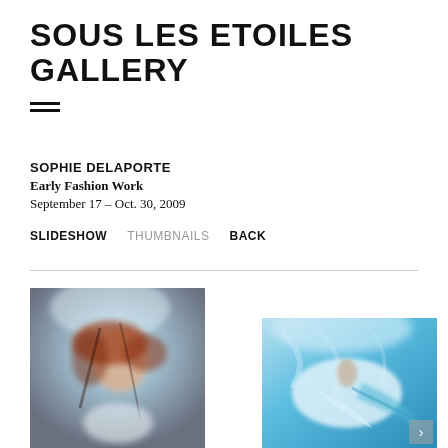SOUS LES ETOILES GALLERY
SOPHIE DELAPORTE
Early Fashion Work
September 17 – Oct. 30, 2009
SLIDESHOW   THUMBNAILS   BACK
[Figure (photo): Underwater fashion photograph of a red-haired woman in a white dress, hair floating around her, soft blue-grey tones]
[Figure (photo): Underwater fashion photograph showing a figure in a flowing white/blue dress in bright blue pool water, sunlight visible from above]